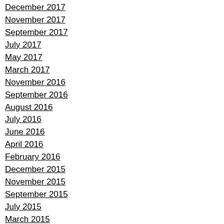December 2017
November 2017
September 2017
July 2017
May 2017
March 2017
November 2016
September 2016
August 2016
July 2016
June 2016
April 2016
February 2016
December 2015
November 2015
September 2015
July 2015
March 2015
February 2015